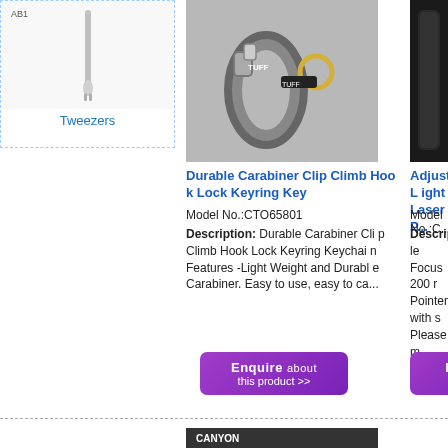[Figure (photo): Tweezers product image with AB1 label, silver metal tweezers on white background]
Tweezers
[Figure (photo): Durable Carabiner Clip Climb Hook Lock Keyring product photo on grey background]
Durable Carabiner Clip Climb Hook Lock Keyring Key
Model No.:CTO65801
Description: Durable Carabiner Clip Climb Hook Lock Keyring Keychain Features -Light Weight and Durable Carabiner. Easy to use, easy to ca...
[Figure (infographic): Enquire about this product button (purple)]
[Figure (photo): Partial view of Adjustable Laser Pointer product, black cylindrical device]
Adjustable Light Laser P...
Model No.:C...
Description: le Focus 200... r Pointer with... s Please m...
[Figure (photo): Chain lock product photo showing CANYON branded bicycle chain lock with red key]